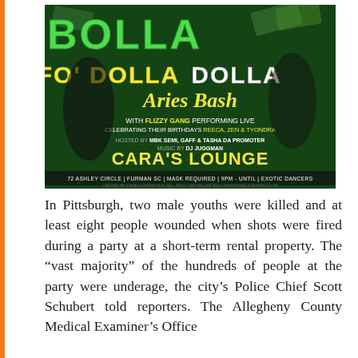[Figure (illustration): Event flyer for 'Bolla Fo' Dolla Aries Bash' at Cara's Lounge. Features performers Flizzy Gang, hosts MBK Semi, Gaff & Tasha Da Promoter, music by DJ Juggman. Location: 72 Ashley Circle, Furman SC. Details: Mask Required, 9PM - Until, Exotic Dancers. Birthday celebrants: Reeca, Zen & Tyondra. Dark green background with yellow/white text and photos of performers.]
In Pittsburgh, two male youths were killed and at least eight people wounded when shots were fired during a party at a short-term rental property. The "vast majority" of the hundreds of people at the party were underage, the city's Police Chief Scott Schubert told reporters. The Allegheny County Medical Examiner's Office